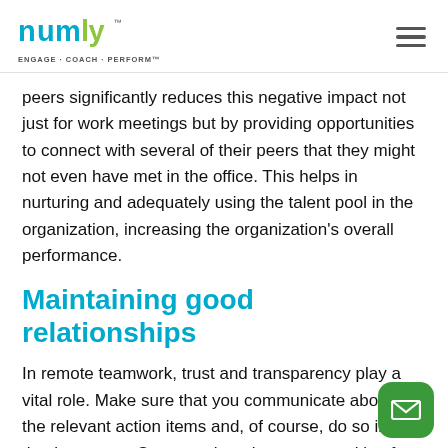numly ENGAGE · COACH · PERFORM™
peers significantly reduces this negative impact not just for work meetings but by providing opportunities to connect with several of their peers that they might not even have met in the office. This helps in nurturing and adequately using the talent pool in the organization, increasing the organization's overall performance.
Maintaining good relationships
In remote teamwork, trust and transparency play a vital role. Make sure that you communicate about all the relevant action items and, of course, do so in a timely manner. So, even though you are working from home, your co-workers know what you are working on and